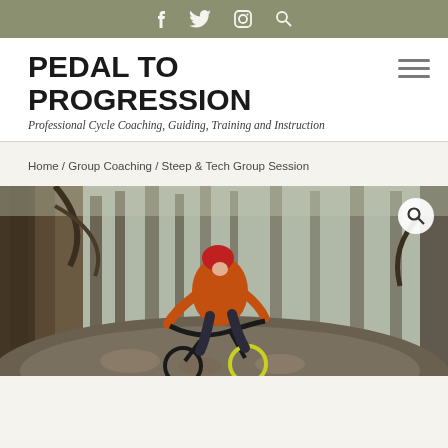f  Twitter  Instagram  Search
PEDAL TO PROGRESSION
Professional Cycle Coaching, Guiding, Training and Instruction
Home / Group Coaching / Steep & Tech Group Session
[Figure (photo): Mountain biker in orange jacket and helmet riding down a steep rocky forest trail among tall trees]